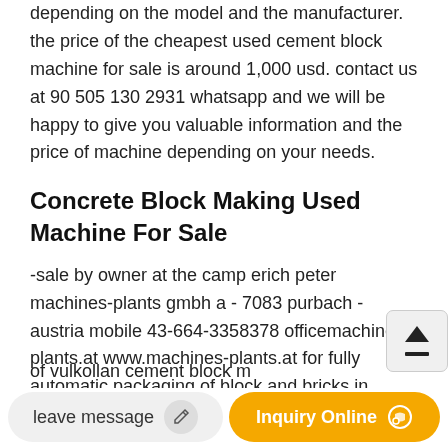depending on the model and the manufacturer. the price of the cheapest used cement block machine for sale is around 1,000 usd. contact us at 90 505 130 2931 whatsapp and we will be happy to give you valuable information and the price of machine depending on your needs.
Concrete Block Making Used Machine For Sale
-sale by owner at the camp erich peter machines-plants gmbh a - 7083 purbach - austria mobile 43-664-3358378 officemachines-plants.at www.machines-plants.at for fully automatic packaging of block and bricks in special design for
of vulkollan cement block m